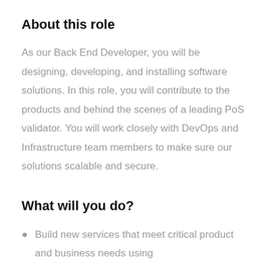About this role
As our Back End Developer, you will be designing, developing, and installing software solutions. In this role, you will contribute to the products and behind the scenes of a leading PoS validator. You will work closely with DevOps and Infrastructure team members to make sure our solutions scalable and secure.
What will you do?
Build new services that meet critical product and business needs using